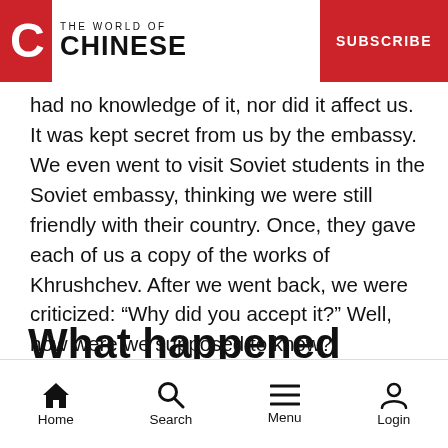THE WORLD OF CHINESE | SUBSCRIBE
had no knowledge of it, nor did it affect us. It was kept secret from us by the embassy. We even went to visit Soviet students in the Soviet embassy, thinking we were still friendly with their country. Once, they gave each of us a copy of the works of Khrushchev. After we went back, we were criticized: “Why did you accept it?” Well, how were we supposed to know?
What happened after you got back?
Home  Search  Menu  Login